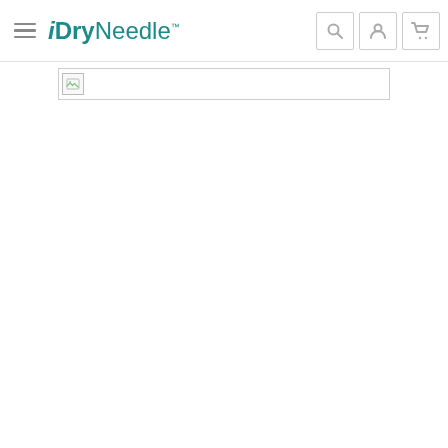iDryNeedle — website header with navigation
[Figure (screenshot): Broken image placeholder inside a bordered banner area below the header navigation]